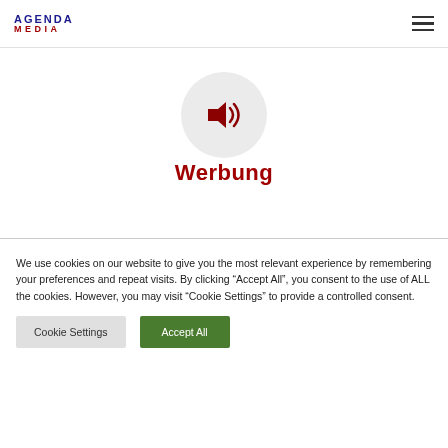AGENDA MEDIA
[Figure (illustration): A circular grey button with a speaker/audio icon (sound on icon) in dark red/maroon color]
Werbung
[Figure (illustration): Partial grey circle visible at the bottom of the white content area]
We use cookies on our website to give you the most relevant experience by remembering your preferences and repeat visits. By clicking “Accept All”, you consent to the use of ALL the cookies. However, you may visit "Cookie Settings" to provide a controlled consent.
Cookie Settings
Accept All